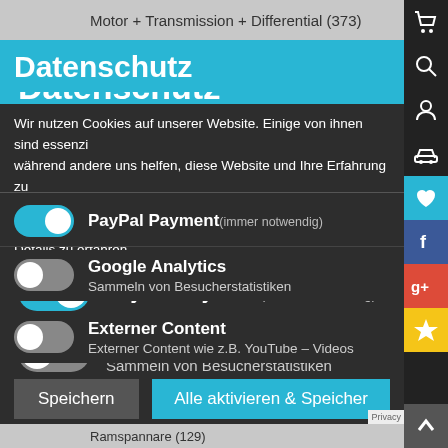Motor + Transmission + Differential (373)
Datenschutz
Wir nutzen Cookies auf unserer Website. Einige von ihnen sind essenziell, während andere uns helfen, diese Website und Ihre Erfahrung zu verbessern.  Bitte lesen Sie unsere Datenschutzerklärung um weitere Details zu erfahren.
PayPal Payment (immer notwendig)
Google Analytics
Sammeln von Besucherstatistiken
Externer Content
Externer Content wie z.B. YouTube – Videos
Speichern
Alle aktivieren & Speichern
Ramspannare (129)
Remskiva + Vibrationsdämpare (36)